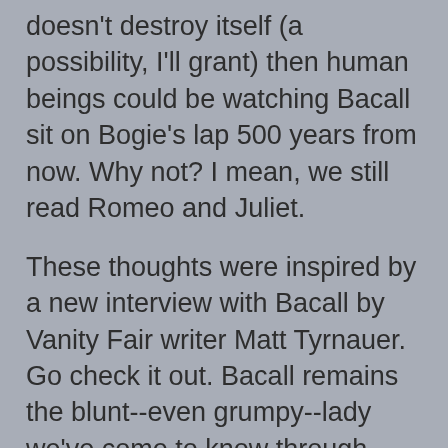doesn't destroy itself (a possibility, I'll grant) then human beings could be watching Bacall sit on Bogie's lap 500 years from now. Why not? I mean, we still read Romeo and Juliet.
These thoughts were inspired by a new interview with Bacall by Vanity Fair writer Matt Tyrnauer. Go check it out. Bacall remains the blunt--even grumpy--lady we've come to know through interviews and her bestselling autobiography (one of the first movie bios I ever read, incidentally). Who wouldn't want to spend time listening to this grand old dame tell her stories?
Read the interview here.
at 8:00 AM   No comments: